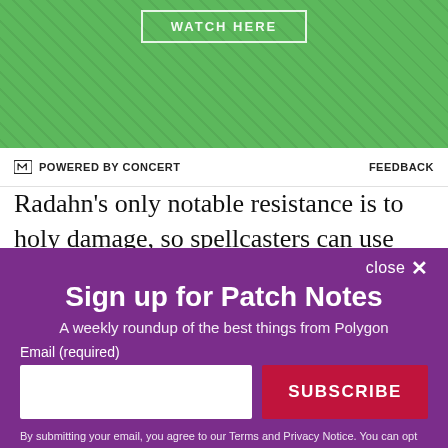[Figure (screenshot): Green textured advertisement banner with 'WATCH HERE' button in white outlined box]
POWERED BY CONCERT    FEEDBACK
Radahn’s only notable resistance is to holy damage, so spellcasters can use whatever other spells you’re comfortable with, while faith casters can try lightning
close ×
Sign up for Patch Notes
A weekly roundup of the best things from Polygon
Email (required)
SUBSCRIBE
By submitting your email, you agree to our Terms and Privacy Notice. You can opt out at any time. This site is protected by reCAPTCHA and the Google Privacy Policy and Terms of Service apply.